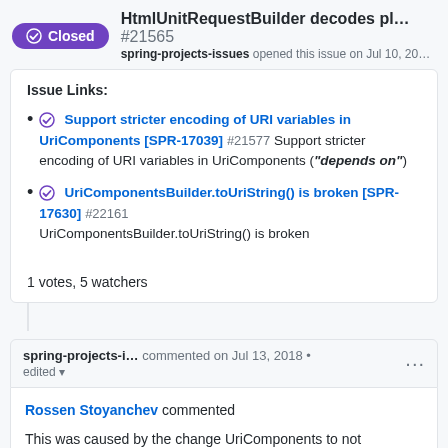HtmlUnitRequestBuilder decodes pl... #21565 spring-projects-issues opened this issue on Jul 10, 20...
Issue Links:
Support stricter encoding of URI variables in UriComponents [SPR-17039] #21577 Support stricter encoding of URI variables in UriComponents ("depends on")
UriComponentsBuilder.toUriString() is broken [SPR-17630] #22161 UriComponentsBuilder.toUriString() is broken
1 votes, 5 watchers
spring-projects-i... commented on Jul 13, 2018 • edited
Rossen Stoyanchev commented
This was caused by the change UriComponents to not